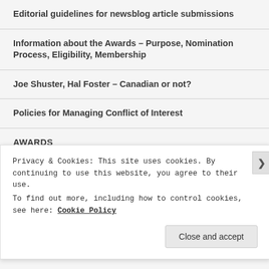Editorial guidelines for newsblog article submissions
Information about the Awards – Purpose, Nomination Process, Eligibility, Membership
Joe Shuster, Hal Foster – Canadian or not?
Policies for Managing Conflict of Interest
AWARDS
Categories / Catégories
2005 Nominees and Winners
Privacy & Cookies: This site uses cookies. By continuing to use this website, you agree to their use.
To find out more, including how to control cookies, see here: Cookie Policy
Close and accept